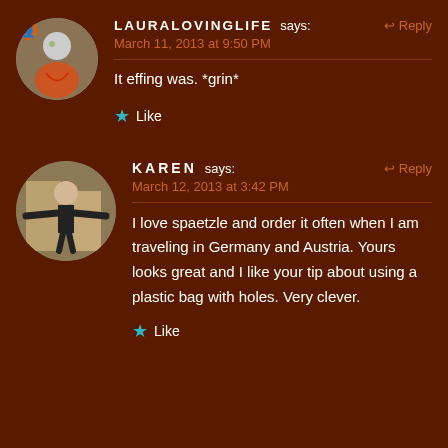LAURALOVINGLIFE says: Reply
March 11, 2013 at 9:50 PM
It effing was. *grin*
Like
KAREN says: Reply
March 12, 2013 at 3:42 PM
I love spaetzle and order it often when I am traveling in Germany and Austria. Yours looks great and I like your tip about using a plastic bag with holes. Very clever.
Like